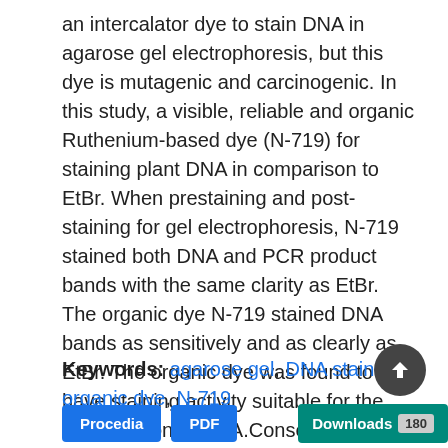an intercalator dye to stain DNA in agarose gel electrophoresis, but this dye is mutagenic and carcinogenic. In this study, a visible, reliable and organic Ruthenium-based dye (N-719) for staining plant DNA in comparison to EtBr. When prestaining and post-staining for gel electrophoresis, N-719 stained both DNA and PCR product bands with the same clarity as EtBr. The organic dye N-719 stained DNA bands as sensitively and as clearly as EtBr. The organic dye was found to have staining activity suitable for the identification of DNA.Consequently, N-719 organic dye can be used to stain and visualize DNA during gel electrophoresis as alternatives to EtBr in plant biotechnology studies.
Keywords: agarose gel, DNA staining, organic dye, N-719